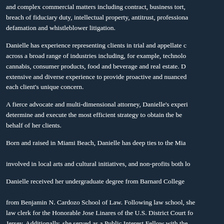and complex commercial matters including contract, business tort, breach of fiduciary duty, intellectual property, antitrust, professional defamation and whistleblower litigation.
Danielle has experience representing clients in trial and appellate courts across a broad range of industries including, for example, technology, cannabis, consumer products, food and beverage and real estate. Danielle's extensive and diverse experience to provide proactive and nuanced counsel to each client's unique concern.
A fierce advocate and multi-dimensional attorney, Danielle's experience to determine and execute the most efficient strategy to obtain the best results on behalf of her clients.
Born and raised in Miami Beach, Danielle has deep ties to the Miami community, involved in local arts and cultural initiatives, and non-profits both locally.
Danielle received her undergraduate degree from Barnard College and her J.D. from Benjamin N. Cardozo School of Law. Following law school, she served as a law clerk for the Honorable Jose Linares of the U.S. District Court for New Jersey. Additionally, she served as a Public Interest Fellow with the Senate Judiciary Committee and as a law clerk at the United States Copyright Office of Policy and International Affairs in Washington D.C.